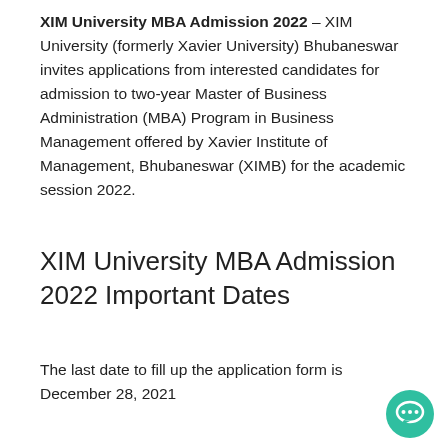XIM University MBA Admission 2022 – XIM University (formerly Xavier University) Bhubaneswar invites applications from interested candidates for admission to two-year Master of Business Administration (MBA) Program in Business Management offered by Xavier Institute of Management, Bhubaneswar (XIMB) for the academic session 2022.
XIM University MBA Admission 2022 Important Dates
The last date to fill up the application form is December 28, 2021